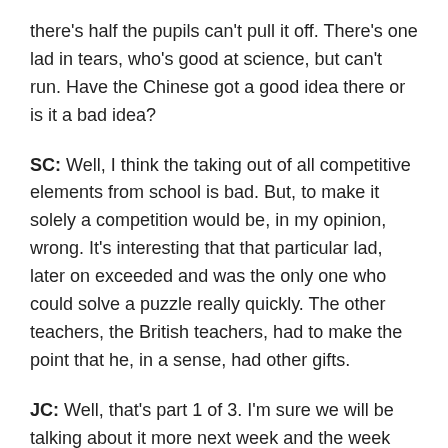there's half the pupils can't pull it off. There's one lad in tears, who's good at science, but can't run. Have the Chinese got a good idea there or is it a bad idea?
SC: Well, I think the taking out of all competitive elements from school is bad. But, to make it solely a competition would be, in my opinion, wrong. It's interesting that that particular lad, later on exceeded and was the only one who could solve a puzzle really quickly. The other teachers, the British teachers, had to make the point that he, in a sense, had other gifts.
JC: Well, that's part 1 of 3. I'm sure we will be talking about it more next week and the week